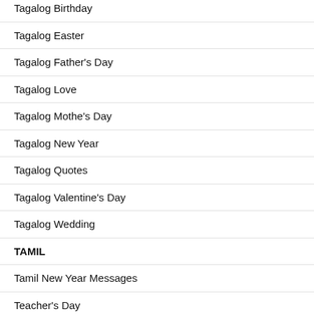Tagalog Birthday
Tagalog Easter
Tagalog Father's Day
Tagalog Love
Tagalog Mothe's Day
Tagalog New Year
Tagalog Quotes
Tagalog Valentine's Day
Tagalog Wedding
TAMIL
Tamil New Year Messages
Teacher's Day
Thank You Messages
Thanksgiving